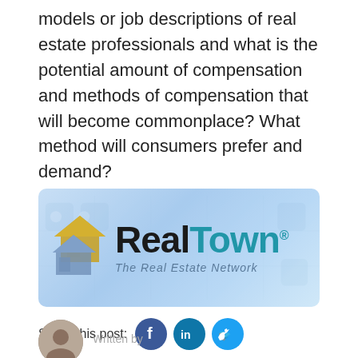models or job descriptions of real estate professionals and what is the potential amount of compensation and methods of compensation that will become commonplace? What method will consumers prefer and demand?
[Figure (logo): RealTown - The Real Estate Network logo on a light blue background with faint social/map icons]
Share this post:
[Figure (other): Social share buttons: Facebook, LinkedIn, Twitter]
[Figure (photo): Circular author photo (partial, cut off at bottom)]
Written by